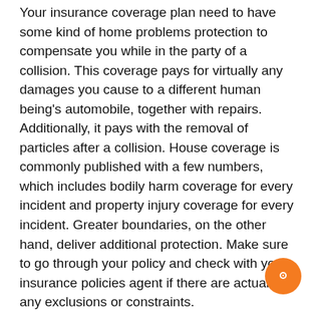Your insurance coverage plan need to have some kind of home problems protection to compensate you while in the party of a collision. This coverage pays for virtually any damages you cause to a different human being's automobile, together with repairs. Additionally, it pays with the removal of particles after a collision. House coverage is commonly published with a few numbers, which includes bodily harm coverage for every incident and property injury coverage for every incident. Greater boundaries, on the other hand, deliver additional protection. Make sure to go through your policy and check with your insurance policies agent if there are actually any exclusions or constraints.
Uninsured motorist protection
In New York, you may assert uninsured motorist coverage if the opposite driver does not have adequate insurance to include the expense of your collision. This coverage applies